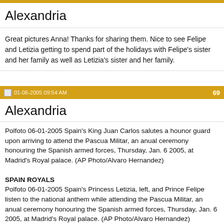Alexandria
Great pictures Anna! Thanks for sharing them. Nice to see Felipe and Letizia getting to spend part of the holidays with Felipe's sister and her family as well as Letizia's sister and her family.
01-06-2005 09:54 AM  69
Alexandria
Polfoto 06-01-2005 Spain's King Juan Carlos salutes a hounor guard upon arriving to attend the Pascua Militar, an anual ceremony honouring the Spanish armed forces, Thursday, Jan. 6 2005, at Madrid's Royal palace. (AP Photo/Alvaro Hernandez)

SPAIN ROYALS
Polfoto 06-01-2005 Spain's Princess Letizia, left, and Prince Felipe listen to the national anthem while attending the Pascua Militar, an anual ceremony honouring the Spanish armed forces, Thursday, Jan. 6 2005, at Madrid's Royal palace. (AP Photo/Alvaro Hernandez)

Polfoto 06-01-2005 Spain's Princess Letizia, left, and Queen Sofia smile while arriving to attend the Pascua Militar, an anual ceremony honouring the Spanish armed forces, Thursday, Jan. 6 2005, at Madrid's Royal palace. (AP Photo/Alvaro Hernandez)